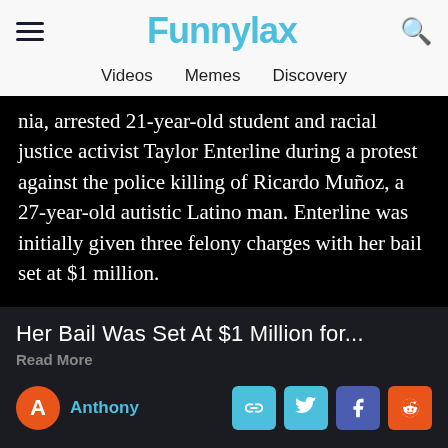Funnylax — Videos | Memes | Discovery
nia, arrested 21-year-old student and racial justice activist Taylor Enterline during a protest against the police killing of Ricardo Muñoz, a 27-year-old autistic Latino man. Enterline was initially given three felony charges with her bail set at $1 million.
Her Bail Was Set At $1 Million for...
Read More
Anthony
Bail Memes | Set Memes | Million Memes